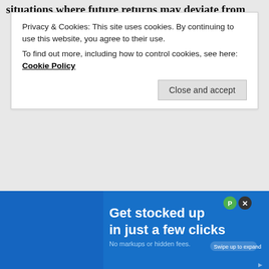situations where future returns may deviate from
Privacy & Cookies: This site uses cookies. By continuing to use this website, you agree to their use.
To find out more, including how to control cookies, see here: Cookie Policy
Close and accept
Liked by 1 person
Reply
GASEM
July 10, 2019 at 7:43 am
Got it, SAFEMAX is a term from Bengen's 1994 study. It is just a number based on his analysis, it's ar
[Figure (infographic): Advertisement banner: 'Get stocked up in just a few clicks. No markups or hidden fees.' blue background with swipe to expand badge]